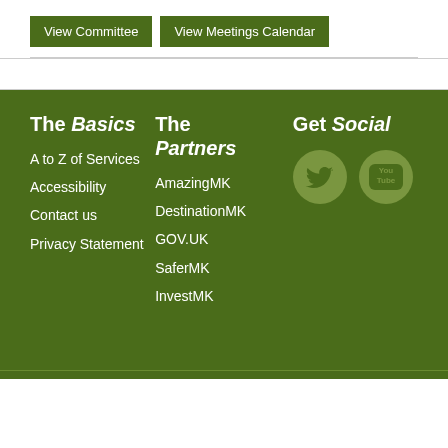View Committee
View Meetings Calendar
The Basics | A to Z of Services | Accessibility | Contact us | Privacy Statement | The Partners | AmazingMK | DestinationMK | GOV.UK | SaferMK | InvestMK | Get Social
The Basics
The Partners
Get Social